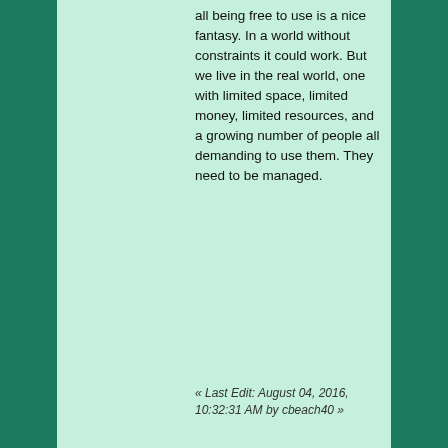all being free to use is a nice fantasy. In a world without constraints it could work. But we live in the real world, one with limited space, limited money, limited resources, and a growing number of people all demanding to use them. They need to be managed.
« Last Edit: August 04, 2016, 10:32:31 AM by cbeach40 »
Logged
noelbotevera
[Figure (illustration): Green highway/freeway rank badge with road symbol and 4 yellow stars]
Offline
Posts: 3306
Now at a Redbox kiosk near you!
Age: 18
Location: Philippines
Re: Ontario's Highways « Reply #647 on: August 04, 2016, 12:40:30 PM »